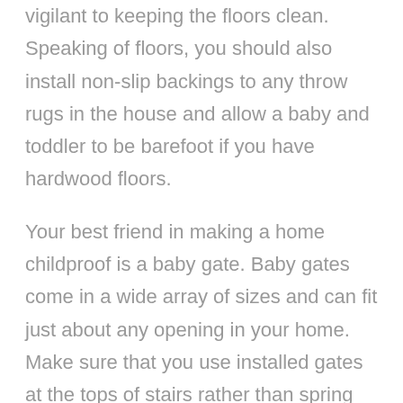vigilant to keeping the floors clean. Speaking of floors, you should also install non-slip backings to any throw rugs in the house and allow a baby and toddler to be barefoot if you have hardwood floors.
Your best friend in making a home childproof is a baby gate. Baby gates come in a wide array of sizes and can fit just about any opening in your home. Make sure that you use installed gates at the tops of stairs rather than spring tension gates. Using baby gates can easily allow you to set up a temporary safe haven for your child in one room without restricting their freedom to